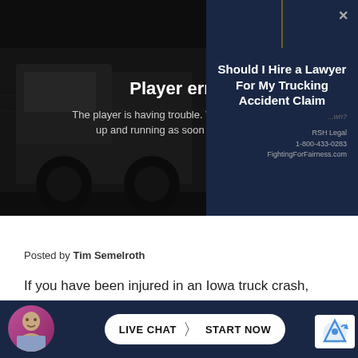[Figure (screenshot): Video player showing a truck on a highway with a dark overlay displaying a player error message. An ad panel on the right shows 'Should I Hire a Lawyer For My Trucking Accident Claim' from RSH Legal on a dark navy background.]
Posted by Tim Semelroth
If you have been injured in an Iowa truck crash, the trucking company or its insurance company may sugge... ca...
[Figure (screenshot): Bottom navigation bar with avatar, LIVE CHAT | START NOW button, and reCAPTCHA badge on dark navy background.]